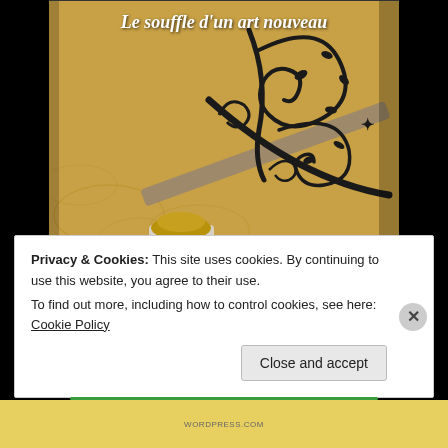[Figure (photo): A photograph of an ornate Art Nouveau wrought-iron staircase railing with floral scrollwork against a golden-yellow wall with decorative painted motifs. A marble newel post with a brass cap is visible at the bottom. The text 'Le souffle d'un art nouveau' is overlaid in white italic script at the top.]
Privacy & Cookies: This site uses cookies. By continuing to use this website, you agree to their use.
To find out more, including how to control cookies, see here: Cookie Policy
Close and accept